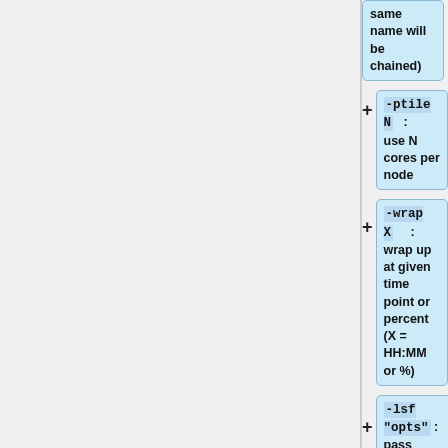same name will be chained)
-ptile N   : use N cores per node
-wrap X    : wrap up at given time point or percent (X = HH:MM or %)
-lsf "opts" : pass additional bsub options to the batch system (LSF)
...        : all subsequent arguments are passed varbatim to